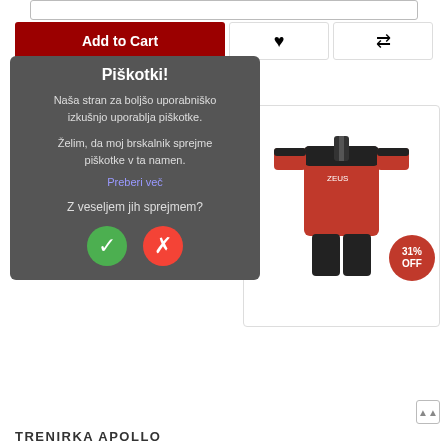[Figure (screenshot): Top input/search bar (partial)]
[Figure (screenshot): Add to Cart button with heart and compare icons]
Related Products
[Figure (screenshot): Social share bar with Like on Facebook, Tweet, Share buttons]
[Figure (screenshot): Cookie consent overlay popup in Slovenian: title 'Piškotki!', body text about cookies, accept/decline buttons]
[Figure (photo): Red and black tracksuit (TRENIRKA APOLLO) product image with 31% OFF badge]
TRENIRKA APOLLO